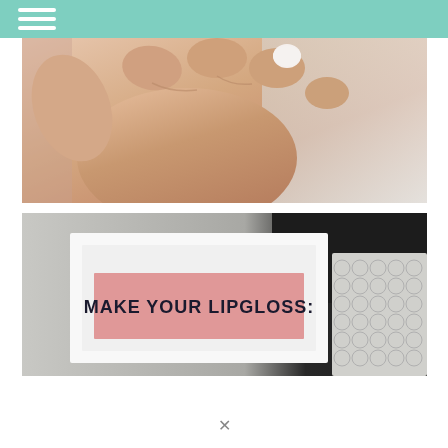[Figure (photo): Close-up photo of a hand with white painted nails against a light grey/marble background]
[Figure (photo): Photo of a white picture frame containing a pink card with bold text reading 'MAKE YOUR LIPGLOSS:' on a grey background with dark objects and bubble wrap visible]